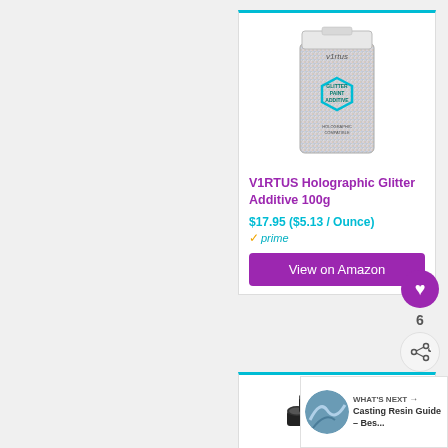[Figure (photo): V1RTUS Holographic Glitter Paint Additive product bag, silver holographic glitter with teal hexagon label]
V1RTUS Holographic Glitter Additive 100g
$17.95 ($5.13 / Ounce)
prime
View on Amazon
[Figure (photo): Multiple small jars of glitter paint additive in various colors stacked together]
WHAT'S NEXT → Casting Resin Guide – Bes...